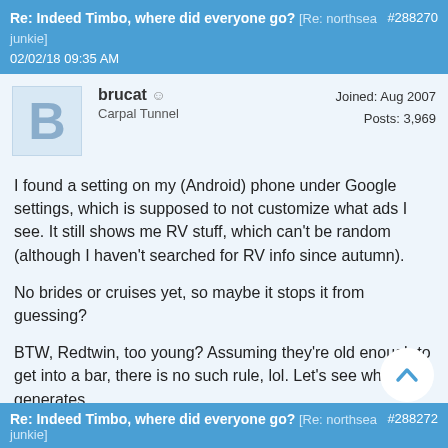Re: Indeed Timbo, where did everyone go? [Re: northsea junkie] #288270
02/02/18 09:35 AM
brucat ☺
Carpal Tunnel
Joined: Aug 2007
Posts: 3,969
I found a setting on my (Android) phone under Google settings, which is supposed to not customize what ads I see. It still shows me RV stuff, which can't be random (although I haven't searched for RV info since autumn).

No brides or cruises yet, so maybe it stops it from guessing?

BTW, Redtwin, too young? Assuming they're old enough to get into a bar, there is no such rule, lol. Let's see what that generates...

Mike
Re: Indeed Timbo, where did everyone go? [Re: northsea junkie] #288272